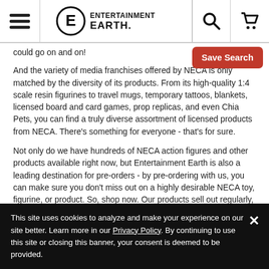Entertainment Earth header with hamburger menu, logo, search icon, and cart icon
could go on and on!
And the variety of media franchises offered by NECA is only matched by the diversity of its products. From its high-quality 1:4 scale resin figurines to travel mugs, temporary tattoos, blankets, licensed board and card games, prop replicas, and even Chia Pets, you can find a truly diverse assortment of licensed products from NECA. There's something for everyone - that's for sure.
Not only do we have hundreds of NECA action figures and other products available right now, but Entertainment Earth is also a leading destination for pre-orders - by pre-ordering with us, you can make sure you don't miss out on a highly desirable NECA toy, figurine, or product. So, shop now. Our products sell out regularly, and we don't want you to miss out!
This site uses cookies to analyze and make your experience on our site better. Learn more in our Privacy Policy. By continuing to use this site or closing this banner, your consent is deemed to be provided.